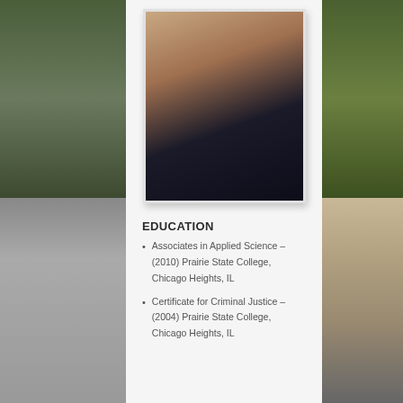[Figure (photo): Headshot of a blonde woman wearing a dark navy police or security uniform with a badge/patch on the chest, smiling]
EDUCATION
Associates in Applied Science – (2010) Prairie State College, Chicago Heights, IL
Certificate for Criminal Justice – (2004) Prairie State College, Chicago Heights, IL